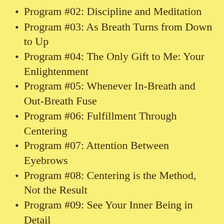Program #02: Discipline and Meditation
Program #03: As Breath Turns from Down to Up
Program #04: The Only Gift to Me: Your Enlightenment
Program #05: Whenever In-Breath and Out-Breath Fuse
Program #06: Fulfillment Through Centering
Program #07: Attention Between Eyebrows
Program #08: Centering is the Method, Not the Result
Program #09: See Your Inner Being in Detail